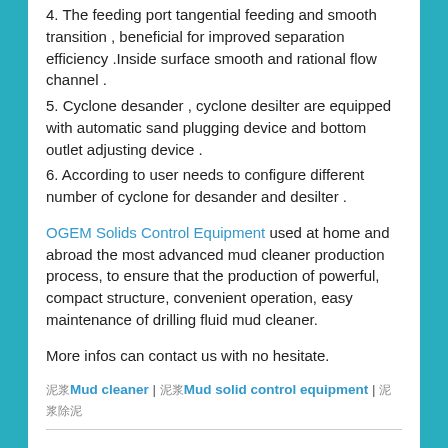4. The feeding port tangential feeding and smooth transition , beneficial for improved separation efficiency .Inside surface smooth and rational flow channel .
5. Cyclone desander , cyclone desilter are equipped with automatic sand plugging device and bottom outlet adjusting device .
6. According to user needs to configure different number of cyclone for desander and desilter .
OGEM Solids Control Equipment used at home and abroad the most advanced mud cleaner production process, to ensure that the production of powerful, compact structure, convenient operation, easy maintenance of drilling fluid mud cleaner.
More infos can contact us with no hesitate.
泥浆Mud cleaner | 泥浆Mud solid control equipment | 泥浆除泥